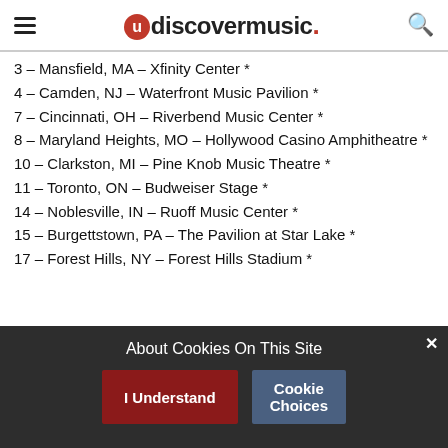udiscovermusic.
3 – Mansfield, MA – Xfinity Center *
4 – Camden, NJ – Waterfront Music Pavilion *
7 – Cincinnati, OH – Riverbend Music Center *
8 – Maryland Heights, MO – Hollywood Casino Amphitheatre *
10 – Clarkston, MI – Pine Knob Music Theatre *
11 – Toronto, ON – Budweiser Stage *
14 – Noblesville, IN – Ruoff Music Center *
15 – Burgettstown, PA – The Pavilion at Star Lake *
17 – Forest Hills, NY – Forest Hills Stadium *
About Cookies On This Site